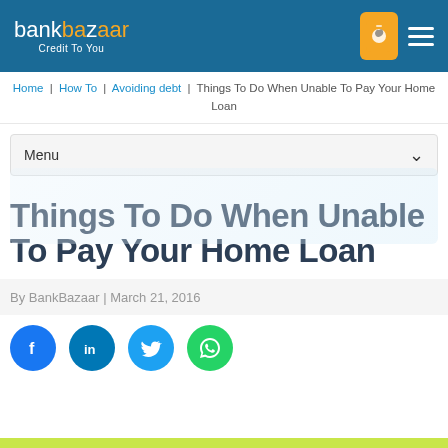bankbazaar Credit To You
Home | How To | Avoiding debt | Things To Do When Unable To Pay Your Home Loan
Menu
Things To Do When Unable To Pay Your Home Loan
By BankBazaar | March 21, 2016